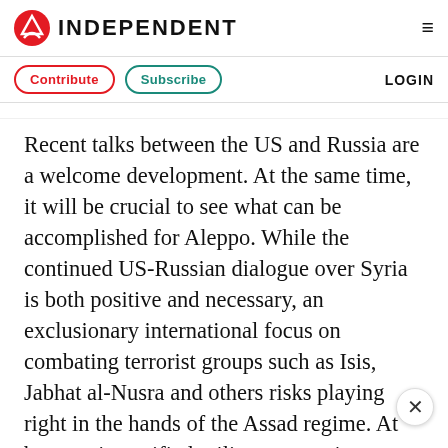INDEPENDENT
Contribute   Subscribe   LOGIN
Recent talks between the US and Russia are a welcome development. At the same time, it will be crucial to see what can be accomplished for Aleppo. While the continued US-Russian dialogue over Syria is both positive and necessary, an exclusionary international focus on combating terrorist groups such as Isis, Jabhat al-Nusra and others risks playing right in the hands of the Assad regime. At best, an intensified military campaign against Jabhat a… N…